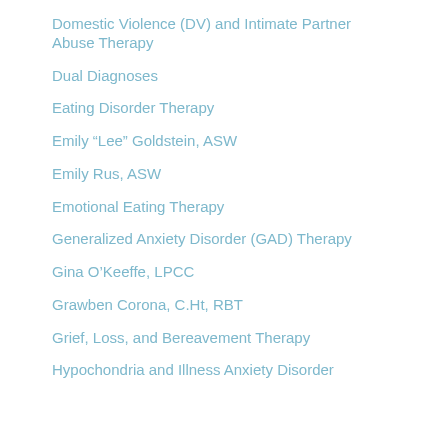Domestic Violence (DV) and Intimate Partner Abuse Therapy
Dual Diagnoses
Eating Disorder Therapy
Emily “Lee” Goldstein, ASW
Emily Rus, ASW
Emotional Eating Therapy
Generalized Anxiety Disorder (GAD) Therapy
Gina O’Keeffe, LPCC
Grawben Corona, C.Ht, RBT
Grief, Loss, and Bereavement Therapy
Hypochondria and Illness Anxiety Disorder